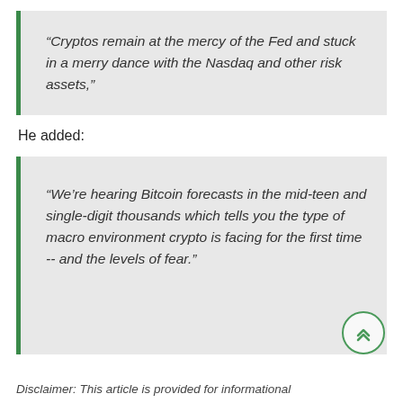“Cryptos remain at the mercy of the Fed and stuck in a merry dance with the Nasdaq and other risk assets,”
He added:
“We’re hearing Bitcoin forecasts in the mid-teen and single-digit thousands which tells you the type of macro environment crypto is facing for the first time -- and the levels of fear.”
Disclaimer: This article is provided for informational